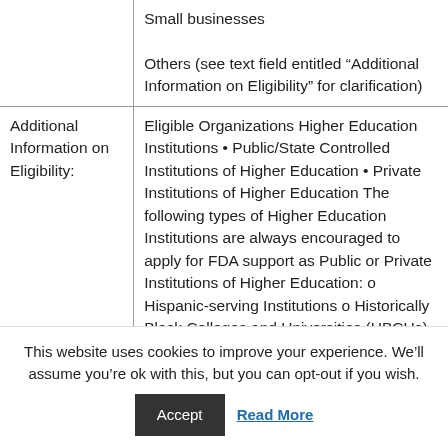|  | Small businesses
Others (see text field entitled “Additional Information on Eligibility” for clarification) |
| Additional Information on Eligibility: | Eligible Organizations Higher Education Institutions • Public/State Controlled Institutions of Higher Education • Private Institutions of Higher Education The following types of Higher Education Institutions are always encouraged to apply for FDA support as Public or Private Institutions of Higher Education: o Hispanic-serving Institutions o Historically Black Colleges and Universities (HBCUs) o Tribally… |
This website uses cookies to improve your experience. We'll assume you're ok with this, but you can opt-out if you wish.
Accept  Read More